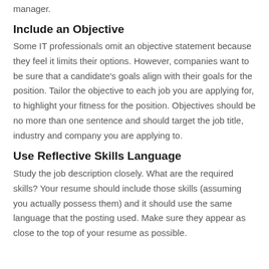manager.
Include an Objective
Some IT professionals omit an objective statement because they feel it limits their options. However, companies want to be sure that a candidate's goals align with their goals for the position. Tailor the objective to each job you are applying for, to highlight your fitness for the position. Objectives should be no more than one sentence and should target the job title, industry and company you are applying to.
Use Reflective Skills Language
Study the job description closely. What are the required skills? Your resume should include those skills (assuming you actually possess them) and it should use the same language that the posting used. Make sure they appear as close to the top of your resume as possible.